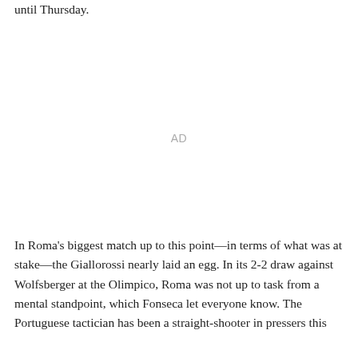until Thursday.
[Figure (other): Advertisement placeholder area labeled 'AD']
In Roma's biggest match up to this point—in terms of what was at stake—the Giallorossi nearly laid an egg. In its 2-2 draw against Wolfsberger at the Olimpico, Roma was not up to task from a mental standpoint, which Fonseca let everyone know. The Portuguese tactician has been a straight-shooter in pressers this